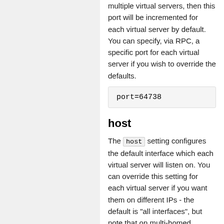multiple virtual servers, then this port will be incremented for each virtual server by default. You can specify, via RPC, a specific port for each virtual server if you wish to override the defaults.
port=64738
host
The host setting configures the default interface which each virtual server will listen on. You can override this setting for each virtual server if you want them on different IPs - the default is "all interfaces", but note that on multi-homed servers this will sometimes break UDP so